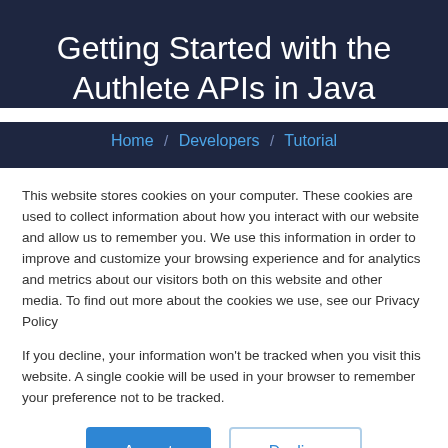Getting Started with the Authlete APIs in Java
Home / Developers / Tutorial
This website stores cookies on your computer. These cookies are used to collect information about how you interact with our website and allow us to remember you. We use this information in order to improve and customize your browsing experience and for analytics and metrics about our visitors both on this website and other media. To find out more about the cookies we use, see our Privacy Policy
If you decline, your information won’t be tracked when you visit this website. A single cookie will be used in your browser to remember your preference not to be tracked.
Accept  Decline